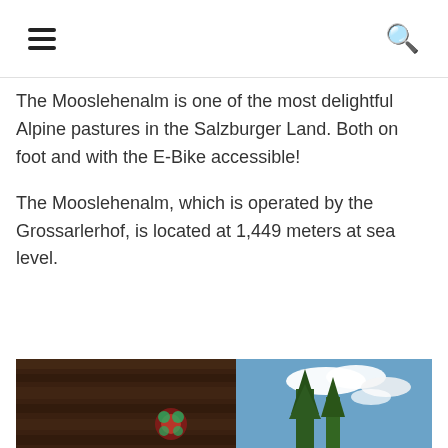☰ [menu] [search]
The Mooslehenalm is one of the most delightful Alpine pastures in the Salzburger Land. Both on foot and with the E-Bike accessible!
The Mooslehenalm, which is operated by the Grossarlerhof, is located at 1,449 meters at sea level.
[Figure (photo): Alpine pasture scene with wooden barn structure, pine trees, and blue sky with clouds above, plus an advertisement strip below showing a cargo airplane being loaded.]